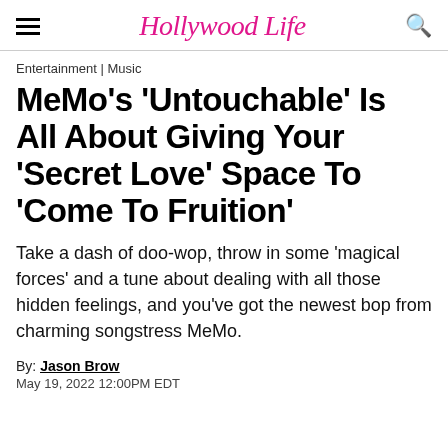Hollywood Life
Entertainment | Music
MeMo's 'Untouchable' Is All About Giving Your 'Secret Love' Space To 'Come To Fruition'
Take a dash of doo-wop, throw in some 'magical forces' and a tune about dealing with all those hidden feelings, and you've got the newest bop from charming songstress MeMo.
By: Jason Brow
May 19, 2022 12:00PM EDT